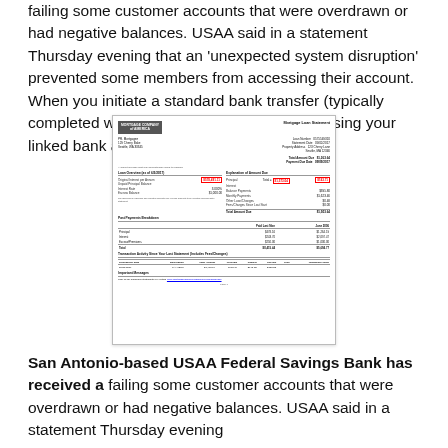failing some customer accounts that were overdrawn or had negative balances. USAA said in a statement Thursday evening that an 'unexpected system disruption' prevented some members from accessing their account. When you initiate a standard bank transfer (typically completed within business days, at no fee) using your linked bank account.
[Figure (other): Mortgage Loan Statement from Mortgage Company of America showing loan details, payment breakdown, and transaction history for a borrower in Seattle, WA. Includes highlighted amounts in red boxes showing Total: $1,573.04 and $743.71.]
San Antonio-based USAA Federal Savings Bank has received a failing some customer accounts that were overdrawn or had negative balances. USAA said in a statement Thursday evening